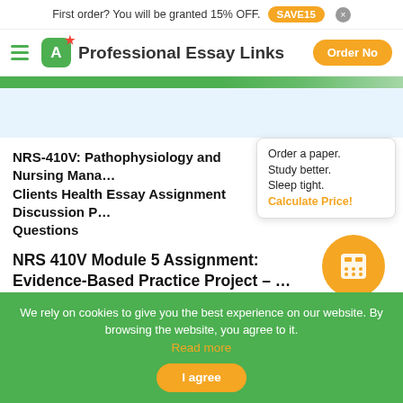First order? You will be granted 15% OFF. SAVE15 ×
Professional Essay Links  Order Now
NRS-410V: Pathophysiology and Nursing Management of Clients Health Essay Assignment Discussion Post Questions
NRS 410V Module 5 Assignment: Evidence-Based Practice Project – on Diabetes
Order a paper. Study better. Sleep tight. Calculate Price!
We rely on cookies to give you the best experience on our website. By browsing the website, you agree to it. Read more
I agree